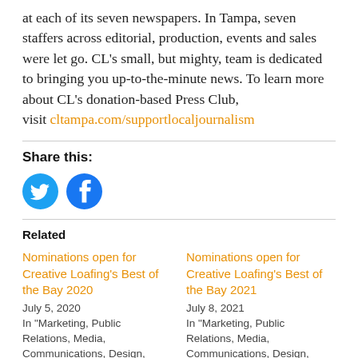at each of its seven newspapers. In Tampa, seven staffers across editorial, production, events and sales were let go. CL's small, but mighty, team is dedicated to bringing you up-to-the-minute news. To learn more about CL's donation-based Press Club, visit cltampa.com/supportlocaljournalism
Share this:
[Figure (illustration): Twitter and Facebook social share buttons as blue circular icons]
Related
Nominations open for Creative Loafing's Best of the Bay 2020
July 5, 2020
In 'Marketing, Public Relations, Media, Communications, Design,
Nominations open for Creative Loafing's Best of the Bay 2021
July 8, 2021
In 'Marketing, Public Relations, Media, Communications, Design,